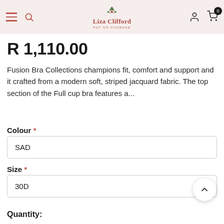Liza Clifford — Put On Courage
R 1,110.00
Fusion Bra Collections champions fit, comfort and support and it crafted from a modern soft, striped jacquard fabric. The top section of the Full cup bra features a...
Colour *
SAD
Size *
30D
Quantity: